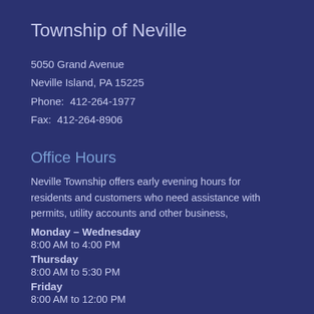Township of Neville
5050 Grand Avenue
Neville Island, PA 15225
Phone:  412-264-1977
Fax:  412-264-8906
Office Hours
Neville Township offers early evening hours for residents and customers who need assistance with permits, utility accounts and other business,
Monday – Wednesday
8:00 AM to 4:00 PM
Thursday
8:00 AM to 5:30 PM
Friday
8:00 AM to 12:00 PM